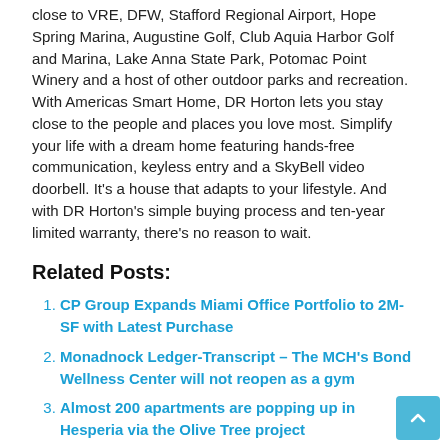close to VRE, DFW, Stafford Regional Airport, Hope Spring Marina, Augustine Golf, Club Aquia Harbor Golf and Marina, Lake Anna State Park, Potomac Point Winery and a host of other outdoor parks and recreation. With Americas Smart Home, DR Horton lets you stay close to the people and places you love most. Simplify your life with a dream home featuring hands-free communication, keyless entry and a SkyBell video doorbell. It's a house that adapts to your lifestyle. And with DR Horton's simple buying process and ten-year limited warranty, there's no reason to wait.
Related Posts:
CP Group Expands Miami Office Portfolio to 2M-SF with Latest Purchase
Monadnock Ledger-Transcript – The MCH's Bond Wellness Center will not reopen as a gym
Almost 200 apartments are popping up in Hesperia via the Olive Tree project
July 4, 2021 store hours for Walmart, Target, Kohl's, Marshalls, Menards, Home Depot, Lowe's, Best Buy and...